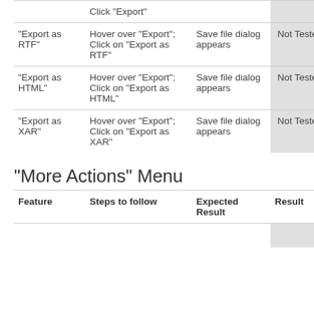| Feature | Steps to follow | Expected Result | Result | JIRA |
| --- | --- | --- | --- | --- |
|  | Click "Export" |  | Not Tested | - |
| "Export as RTF" | Hover over "Export"; Click on "Export as RTF" | Save file dialog appears | Not Tested | - |
| "Export as HTML" | Hover over "Export"; Click on "Export as HTML" | Save file dialog appears | Not Tested | - |
| "Export as XAR" | Hover over "Export"; Click on "Export as XAR" | Save file dialog appears | Not Tested | - |
"More Actions" Menu
| Feature | Steps to follow | Expected Result | Result | JIRA |
| --- | --- | --- | --- | --- |
|  |  |  |  |  |